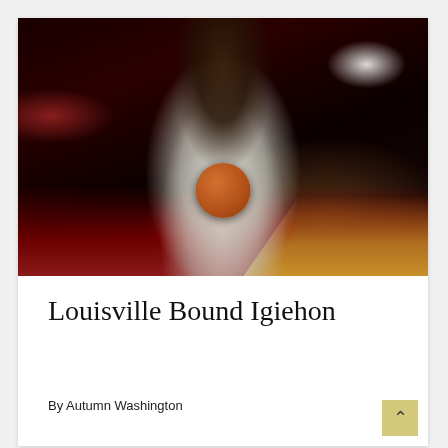[Figure (photo): A Louisville Cardinals basketball player wearing a white Louisville uniform, smiling broadly and holding a basketball, posed on the Cardinals logo court with dramatic lighting — red light from left, bright spotlight from upper right, dark background.]
Louisville Bound Igiehon
By Autumn Washington